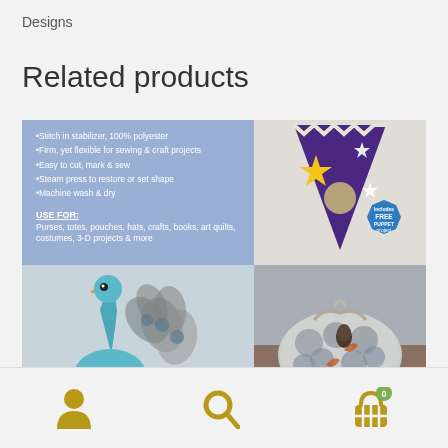Designs
Related products
[Figure (photo): Product collage showing a blue stabilizer product info panel with bullet points, a purple pennant puppet project, a handmade blue peacock craft, and a patterned fabric bag]
Navigation icons: user account, search, cart (0)